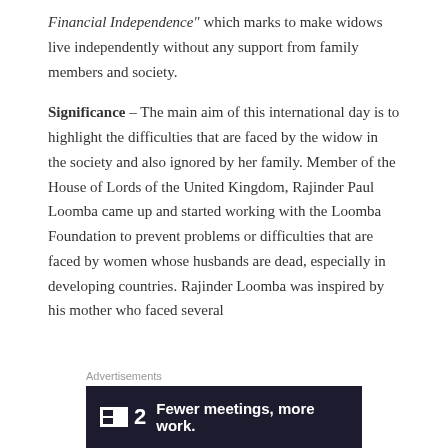Financial Independence" which marks to make widows live independently without any support from family members and society.
Significance – The main aim of this international day is to highlight the difficulties that are faced by the widow in the society and also ignored by her family. Member of the House of Lords of the United Kingdom, Rajinder Paul Loomba came up and started working with the Loomba Foundation to prevent problems or difficulties that are faced by women whose husbands are dead, especially in developing countries. Rajinder Loomba was inspired by his mother who faced several
Advertisements
[Figure (other): Advertisement banner with dark navy background showing a small white square icon with two rectangles inside, the number 2, and the text 'Fewer meetings, more work.' in white bold font]